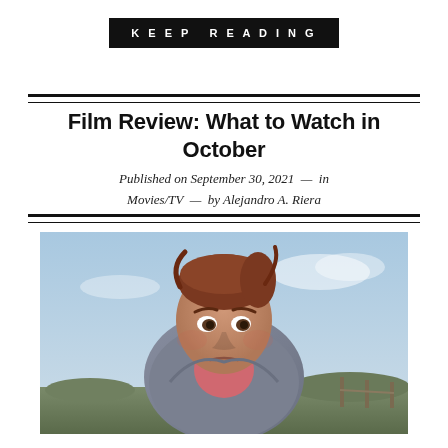KEEP READING
Film Review: What to Watch in October
Published on September 30, 2021  —  in Movies/TV  —  by Alejandro A. Riera
[Figure (photo): A young woman with reddish-brown hair pulled back, wearing a grey hoodie and a pink shirt underneath, looking distressed or scared outdoors. The background shows an open sky and some distant landscape.]